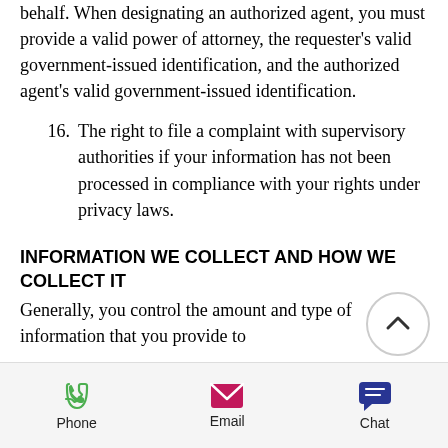behalf. When designating an authorized agent, you must provide a valid power of attorney, the requester's valid government-issued identification, and the authorized agent's valid government-issued identification.
16. The right to file a complaint with supervisory authorities if your information has not been processed in compliance with your rights under privacy laws.
INFORMATION WE COLLECT AND HOW WE COLLECT IT
Generally, you control the amount and type of information that you provide to
[Figure (other): Back to top arrow button (circular chevron up icon)]
Phone  Email  Chat